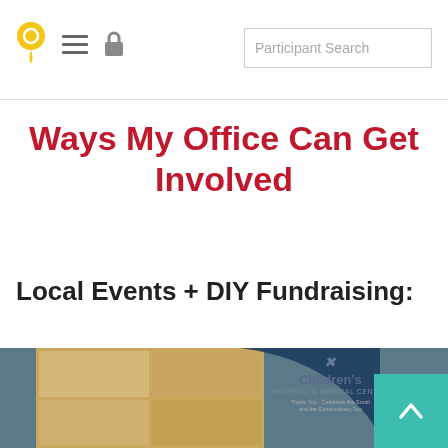Navigation header with logo, hamburger menu, lock icon, and Participant Search box
Ways My Office Can Get Involved
Local Events + DIY Fundraising:
[Figure (photo): Photo showing Children's Hospital & Medical Center wooden logo wall sign with teal/blue curved background elements]